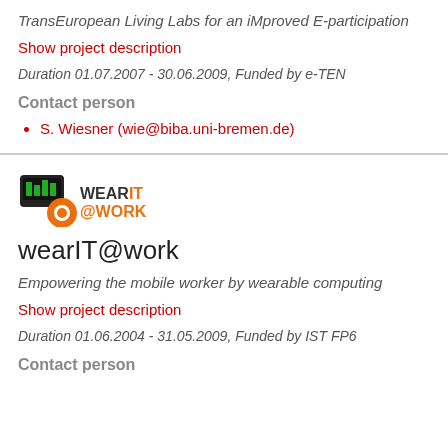TransEuropean Living Labs for an iMproved E-participation
Show project description
Duration 01.07.2007 - 30.06.2009, Funded by e-TEN
Contact person
S. Wiesner (wie@biba.uni-bremen.de)
[Figure (logo): WearIT@work logo with device icon and orange circle]
wearIT@work
Empowering the mobile worker by wearable computing
Show project description
Duration 01.06.2004 - 31.05.2009, Funded by IST FP6
Contact person